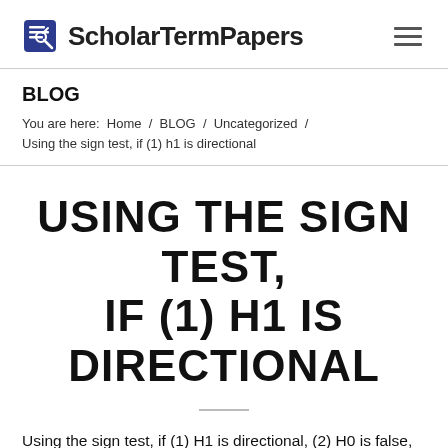ScholarTermPapers
BLOG
You are here:  Home  /  BLOG  /  Uncategorized  /  Using the sign test, if (1) h1 is directional
USING THE SIGN TEST, IF (1) H1 IS DIRECTIONAL
Using the sign test, if (1) H1 is directional, (2) H0 is false, (3) α = 0.01, and (4) N = 12, then the probability of making a Type I error is...